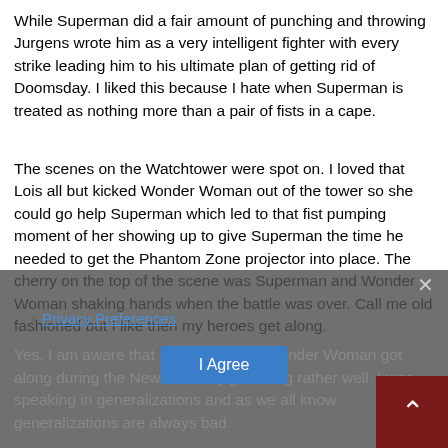While Superman did a fair amount of punching and throwing Jurgens wrote him as a very intelligent fighter with every strike leading him to his ultimate plan of getting rid of Doomsday. I liked this because I hate when Superman is treated as nothing more than a pair of fists in a cape.
The scenes on the Watchtower were spot on. I loved that Lois all but kicked Wonder Woman out of the tower so she could go help Superman which led to that fist pumping moment of her showing up to give Superman the time he needed to get the Phantom Zone projector into place. The cherry on the top of the scene was Superman and Wonder Woman shaking hands when the battle was over. Call me old fashioned but I like then my heroes get along.
Yes, I am aware that Superman and Wonder Woman got along during the New 52. They got along rather well. I was speaking in generalizations and as we all know generalizations are always bad.